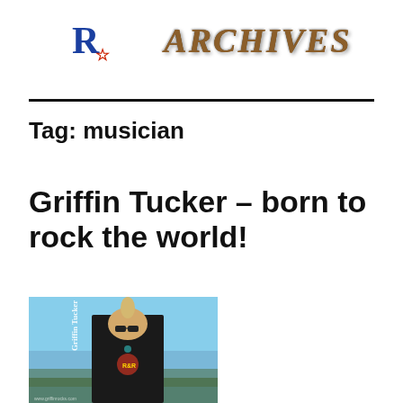Rx Archives
Tag: musician
Griffin Tucker – born to rock the world!
[Figure (photo): Photo of Griffin Tucker, a young musician with a mohawk hairstyle wearing sunglasses and a Rock & Roll t-shirt, photographed outdoors against a blue sky. The image has 'Griffin Tucker' text overlaid vertically on the left side.]